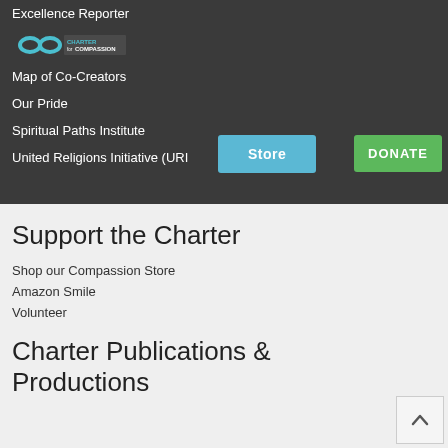Excellence Reporter
[Figure (logo): Charter for Compassion logo with infinity symbol in teal, with text 'CHARTER for COMPASSION']
Map of Co-Creators
Our Pride
Spiritual Paths Institute
United Relations Initiative (URI)
Support the Charter
Shop our Compassion Store
Amazon Smile
Volunteer
Charter Publications & Productions